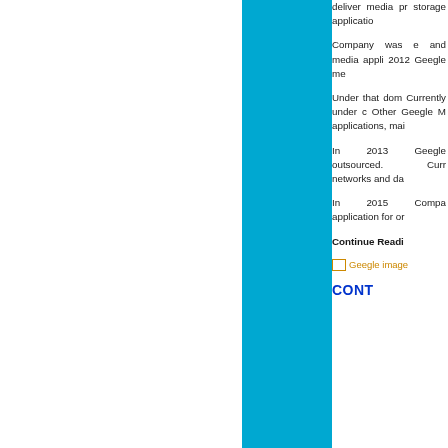deliver media processing, storage applications.
Company was established and media applications. 2012 Geegle me...
Under that domain... Currently under development. Other Geegle Media applications, mai...
In 2013 Geegle outsourced. Currently networks and da...
In 2015 Company application for or...
Continue Reading
[Figure (other): Geegle image placeholder/broken image icon with orange text label]
CONT...